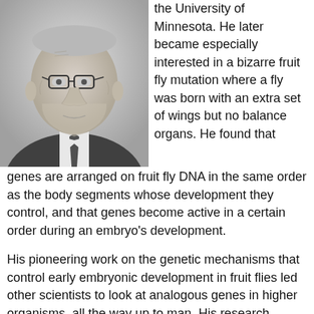[Figure (photo): Black and white portrait photo of an elderly man wearing glasses, a suit and tie]
the University of Minnesota. He later became especially interested in a bizarre fruit fly mutation where a fly was born with an extra set of wings but no balance organs. He found that genes are arranged on fruit fly DNA in the same order as the body segments whose development they control, and that genes become active in a certain order during an embryo's development.
His pioneering work on the genetic mechanisms that control early embryonic development in fruit flies led other scientists to look at analogous genes in higher organisms, all the way up to man. His research, along with that of two others, achieved a breakthrough that will help explain congenital defects in humans and that won them the 1995